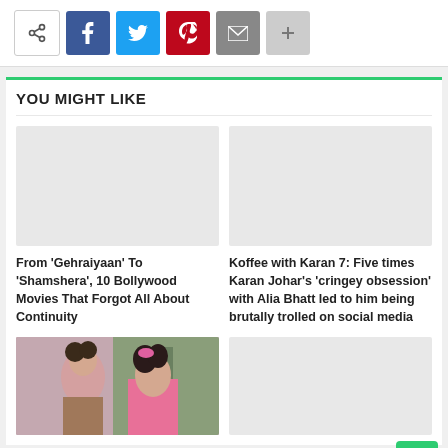[Figure (other): Social share bar with share, Facebook, Twitter, Pinterest, Email, and plus buttons]
YOU MIGHT LIKE
[Figure (photo): Placeholder image for article: From 'Gehraiyaan' To 'Shamshera', 10 Bollywood Movies That Forgot All About Continuity]
From 'Gehraiyaan' To 'Shamshera', 10 Bollywood Movies That Forgot All About Continuity
[Figure (photo): Placeholder image for article: Koffee with Karan 7: Five times Karan Johar's 'cringey obsession' with Alia Bhatt led to him being brutally trolled on social media]
Koffee with Karan 7: Five times Karan Johar's 'cringey obsession' with Alia Bhatt led to him being brutally trolled on social media
[Figure (photo): Bollywood movie still showing two women, one in pink dress]
[Figure (photo): Placeholder image for fourth article card]